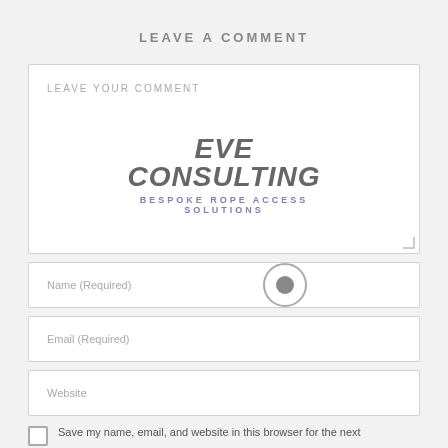LEAVE A COMMENT
[Figure (screenshot): Comment form with textarea showing 'LEAVE YOUR COMMENT' placeholder, overlaid with Eve Consulting logo (Bespoke Rope Access Solutions), followed by Name (Required), Email (Required), Website input fields, and a save checkbox.]
Save my name, email, and website in this browser for the next time I comment.